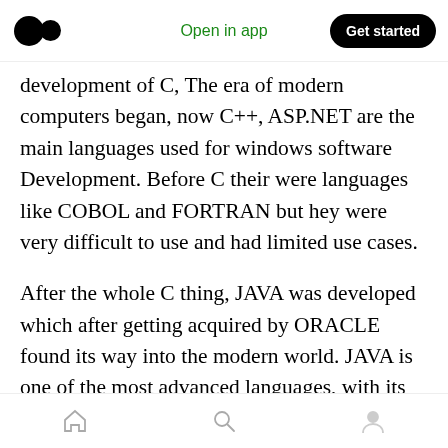Medium app header — Open in app | Get started
development of C, The era of modern computers began, now C++, ASP.NET are the main languages used for windows software Development. Before C their were languages like COBOL and FORTRAN but hey were very difficult to use and had limited use cases.
After the whole C thing, JAVA was developed which after getting acquired by ORACLE found its way into the modern world. JAVA is one of the most advanced languages, with its main use in android development, and electronic works. JAVA and C were the main languages for any kind of
Bottom navigation bar with home, search, and profile icons